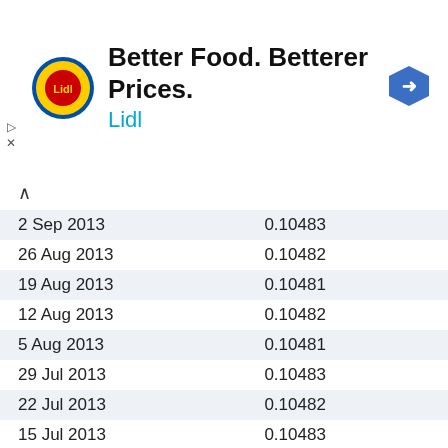[Figure (logo): Lidl advertisement banner with Lidl logo (yellow and red circular logo), text 'Better Food. Betterer Prices.' and 'Lidl' in cyan, plus a blue navigation arrow icon on the right]
| Date | Value |
| --- | --- |
| 2 Sep 2013 | 0.10483 |
| 26 Aug 2013 | 0.10482 |
| 19 Aug 2013 | 0.10481 |
| 12 Aug 2013 | 0.10482 |
| 5 Aug 2013 | 0.10481 |
| 29 Jul 2013 | 0.10483 |
| 22 Jul 2013 | 0.10482 |
| 15 Jul 2013 | 0.10483 |
| 8 Jul 2013 | 0.10482 |
| 1 Jul 2013 | 0.10483 |